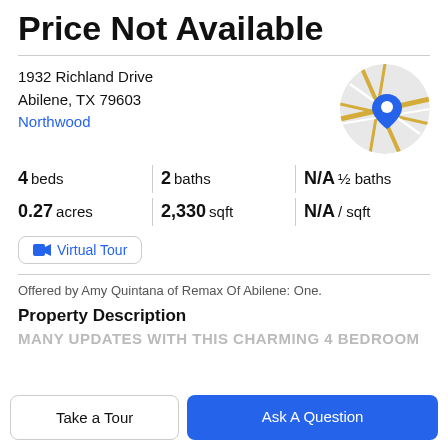Price Not Available
1932 Richland Drive
Abilene, TX 79603
Northwood
[Figure (map): Circular map thumbnail showing location pin for 1932 Richland Drive, Abilene TX]
4 beds   2 baths   N/A ½ baths
0.27 acres   2,330 sqft   N/A / sqft
📹 Virtual Tour
Offered by Amy Quintana of Remax Of Abilene: One.
Property Description
MANY UPDATES WITH THIS CHARMING 4 BEDROOM
Take a Tour
Ask A Question